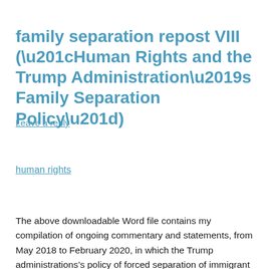family separation repost VIII (“Human Rights and the Trump Administration’s Family Separation Policy”)
Leave a reply
human rights
The above downloadable Word file contains my compilation of ongoing commentary and statements, from May 2018 to February 2020, in which the Trump administrations’s policy of forced separation of immigrant children from their parents (and vice versa) was subjected to critcism as a human rights